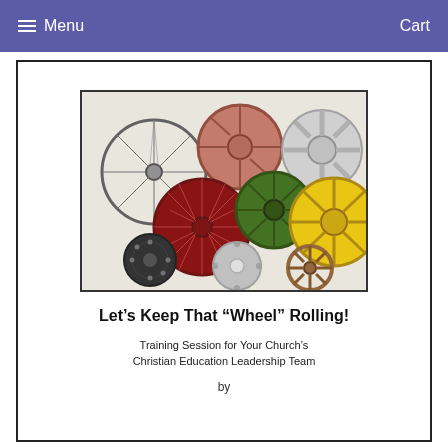Menu   Cart
[Figure (photo): Collage of various types of wheels including bicycle wheels, car rims, tractor wheels, vintage spoke wheels, and other wheel types arranged together]
Let's Keep That “Wheel” Rolling!
Training Session for Your Church’s Christian Education Leadership Team
by